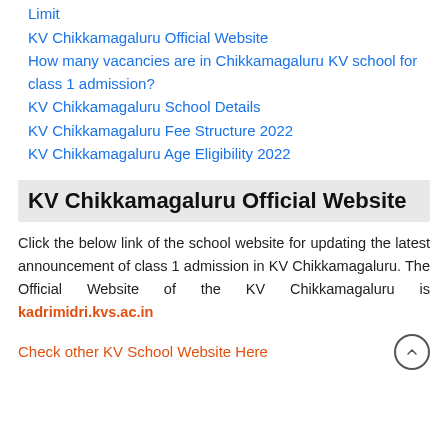Limit
KV Chikkamagaluru Official Website
How many vacancies are in Chikkamagaluru KV school for class 1 admission?
KV Chikkamagaluru School Details
KV Chikkamagaluru Fee Structure 2022
KV Chikkamagaluru Age Eligibility 2022
KV Chikkamagaluru Official Website
Click the below link of the school website for updating the latest announcement of class 1 admission in KV Chikkamagaluru. The Official Website of the KV Chikkamagaluru is kadrimidri.kvs.ac.in
Check other KV School Website Here